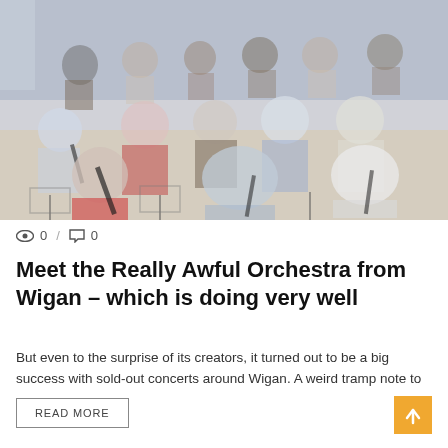[Figure (photo): Group photo of orchestra musicians sitting in chairs playing wind instruments (clarinets, flutes) in a rehearsal room with blue curtains in background and music stands visible.]
👁 0 / 💬 0
Meet the Really Awful Orchestra from Wigan – which is doing very well
But even to the surprise of its creators, it turned out to be a big success with sold-out concerts around Wigan. A weird tramp note to ...
READ MORE